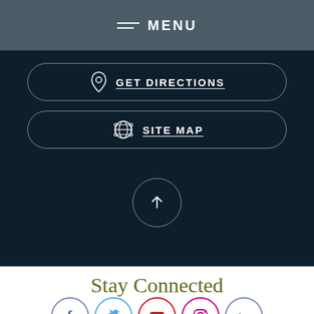MENU
[Figure (infographic): GET DIRECTIONS button pill with location pin icon on dark background]
[Figure (infographic): SITE MAP button pill with globe/network icon on dark background]
[Figure (infographic): Circular up-arrow button on dark background]
Stay Connected
[Figure (infographic): Row of social media icons: Facebook, Twitter, YouTube, Instagram, LinkedIn]
View Full Site